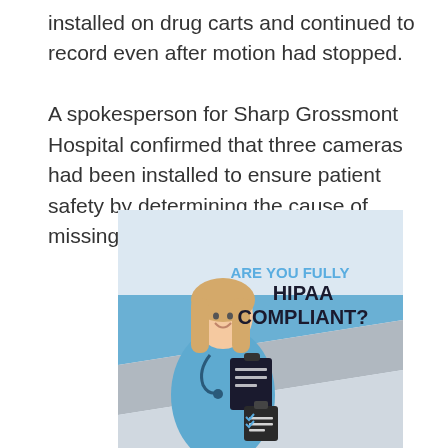installed on drug carts and continued to record even after motion had stopped.

A spokesperson for Sharp Grossmont Hospital confirmed that three cameras had been installed to ensure patient safety by determining the cause of missing drugs from the carts.
[Figure (illustration): Promotional image with a female nurse in blue scrubs holding a clipboard and stethoscope, standing in front of a hospital corridor background with blue and grey diagonal bands. Text reads 'ARE YOU FULLY HIPAA COMPLIANT?' with a clipboard checklist icon at the bottom center.]